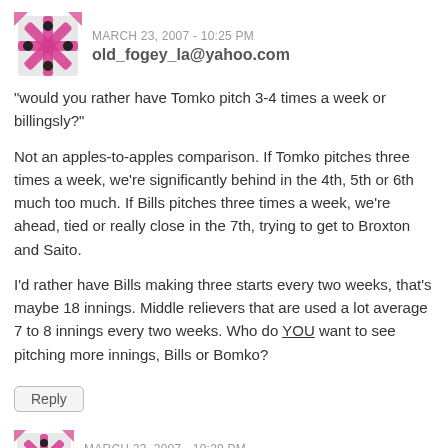[Figure (illustration): Pink and black decorative avatar icon, abstract star/snowflake pattern]
MARCH 23, 2007 - 10:25 PM
old_fogey_la@yahoo.com
“would you rather have Tomko pitch 3-4 times a week or billingsly?”
Not an apples-to-apples comparison. If Tomko pitches three times a week, we’re significantly behind in the 4th, 5th or 6th much too much. If Bills pitches three times a week, we’re ahead, tied or really close in the 7th, trying to get to Broxton and Saito.
I’d rather have Bills making three starts every two weeks, that’s maybe 18 innings. Middle relievers that are used a lot average 7 to 8 innings every two weeks. Who do YOU want to see pitching more innings, Bills or Bomko?
Reply
[Figure (illustration): Pink and black decorative avatar icon, abstract star/snowflake pattern]
MARCH 23, 2007 - 10:29 PM
old_fogey_la@yahoo.com
typo: should be 16 innings.